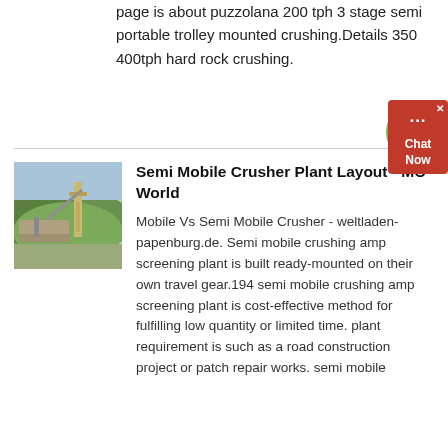page is about puzzolana 200 tph 3 stage semi portable trolley mounted crushing.Details 350 400tph hard rock crushing.
[Figure (photo): Photo of a semi mobile crusher plant with green hills in background and industrial equipment visible]
Semi Mobile Crusher Plant Layout - MC World
Mobile Vs Semi Mobile Crusher - weltladen-papenburg.de. Semi mobile crushing amp screening plant is built ready-mounted on their own travel gear.194 semi mobile crushing amp screening plant is cost-effective method for fulfilling low quantity or limited time. plant requirement is such as a road construction project or patch repair works. semi mobile